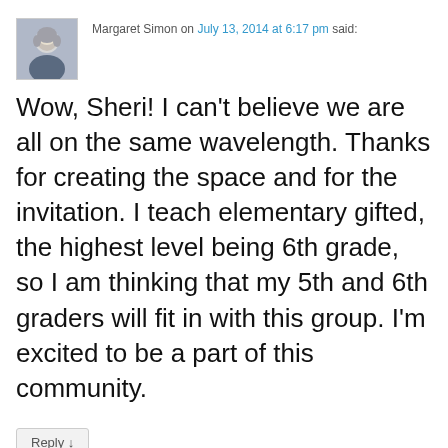Margaret Simon on July 13, 2014 at 6:17 pm said:
Wow, Sheri! I can't believe we are all on the same wavelength. Thanks for creating the space and for the invitation. I teach elementary gifted, the highest level being 6th grade, so I am thinking that my 5th and 6th graders will fit in with this group. I'm excited to be a part of this community.
Reply ↓
Ms. Edwards
on July 13, 2014 at 8:53 pm said: